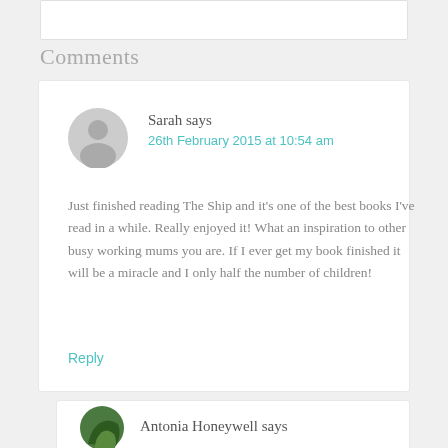Comments
Sarah says
26th February 2015 at 10:54 am
Just finished reading The Ship and it's one of the best books I've read in a while. Really enjoyed it! What an inspiration to other busy working mums you are. If I ever get my book finished it will be a miracle and I only half the number of children!
Reply
Antonia Honeywell says